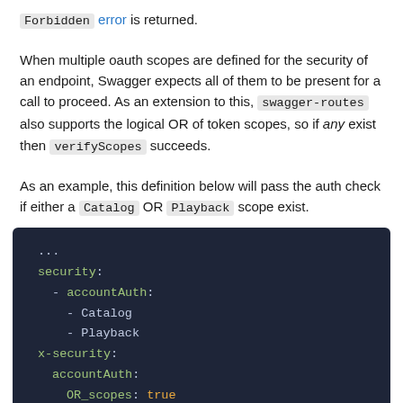Forbidden error is returned.
When multiple oauth scopes are defined for the security of an endpoint, Swagger expects all of them to be present for a call to proceed. As an extension to this, swagger-routes also supports the logical OR of token scopes, so if any exist then verifyScopes succeeds.
As an example, this definition below will pass the auth check if either a Catalog OR Playback scope exist.
[Figure (screenshot): Code block on dark background showing YAML security configuration with security: - accountAuth: - Catalog - Playback and x-security: accountAuth: OR_scopes: true]